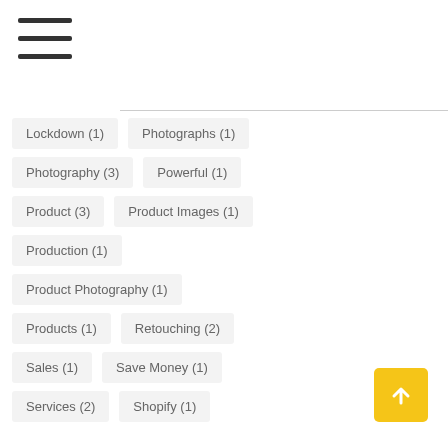[Figure (other): Hamburger menu icon (three horizontal lines)]
Lockdown (1)
Photographs (1)
Photography (3)
Powerful (1)
Product (3)
Product Images (1)
Production (1)
Product Photography (1)
Products (1)
Retouching (2)
Sales (1)
Save Money (1)
Services (2)
Shopify (1)